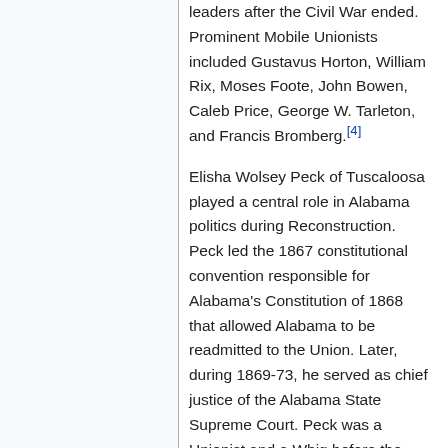leaders after the Civil War ended. Prominent Mobile Unionists included Gustavus Horton, William Rix, Moses Foote, John Bowen, Caleb Price, George W. Tarleton, and Francis Bromberg.[4]
Elisha Wolsey Peck of Tuscaloosa played a central role in Alabama politics during Reconstruction. Peck led the 1867 constitutional convention responsible for Alabama's Constitution of 1868 that allowed Alabama to be readmitted to the Union. Later, during 1869-73, he served as chief justice of the Alabama State Supreme Court. Peck was a Unionist and a Whig before the war, who joined the Republicans afterward. Accused by the local Conservative Democratic press of playing partisan politics and selling out to